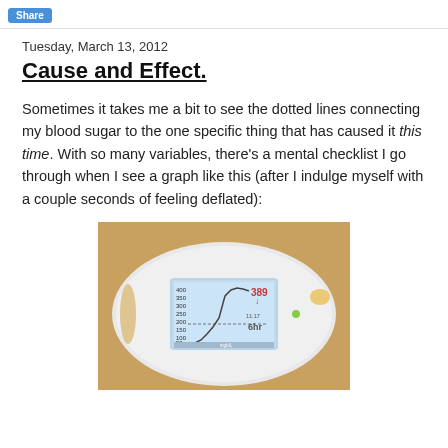Share
Tuesday, March 13, 2012
Cause and Effect.
Sometimes it takes me a bit to see the dotted lines connecting my blood sugar to the one specific thing that has caused it this time. With so many variables, there's a mental checklist I go through when I see a graph like this (after I indulge myself with a couple seconds of feeling deflated):
[Figure (photo): Photo of a white oval-shaped continuous glucose monitor device displaying a screen with a blood sugar graph showing a reading of 389, with a downward arrow, time showing 11:17, and a 6hr timeframe label. The y-axis shows values from 50 to 400 (50, 100, 150, 200, 250, 300, 350, 400). The graph line rises steeply to a peak around 389 mg/dL.]